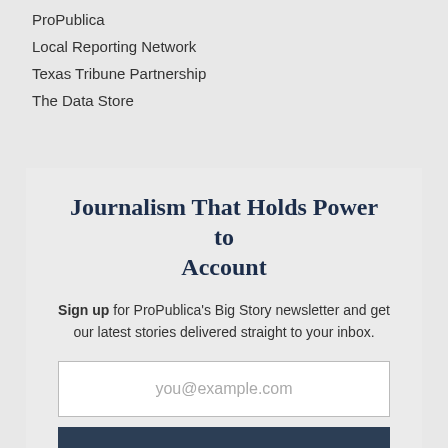ProPublica
Local Reporting Network
Texas Tribune Partnership
The Data Store
Journalism That Holds Power to Account
Sign up for ProPublica's Big Story newsletter and get our latest stories delivered straight to your inbox.
you@example.com
Get the Newsletter
No thanks, I'm all set
This site is protected by reCAPTCHA and the Google Privacy Policy and Terms of Service apply.